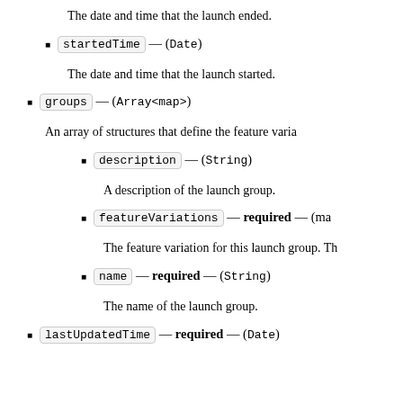The date and time that the launch ended.
startedTime — (Date)
The date and time that the launch started.
groups — (Array<map>)
An array of structures that define the feature varia...
description — (String)
A description of the launch group.
featureVariations — required — (map)
The feature variation for this launch group. Th...
name — required — (String)
The name of the launch group.
lastUpdatedTime — required — (Date)